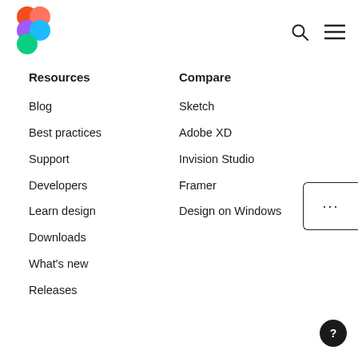[Figure (logo): Figma logo — four overlapping circles in red, orange, purple, blue, green arranged as the Figma icon]
Resources
Compare
Blog
Sketch
Best practices
Adobe XD
Support
Invision Studio
Developers
Framer
Learn design
Design on Windows
Downloads
What's new
Releases